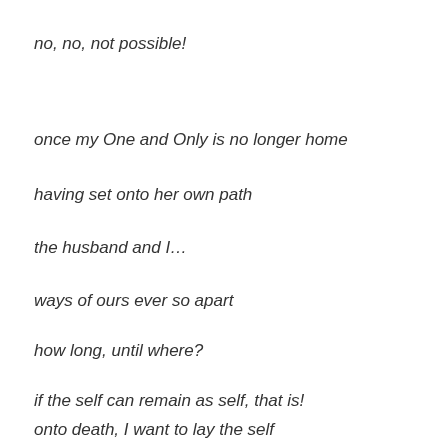no, no, not possible!
once my One and Only is no longer home
having set onto her own path
the husband and I…
ways of ours ever so apart
how long, until where?
if the self can remain as self, that is!
onto death, I want to lay the self